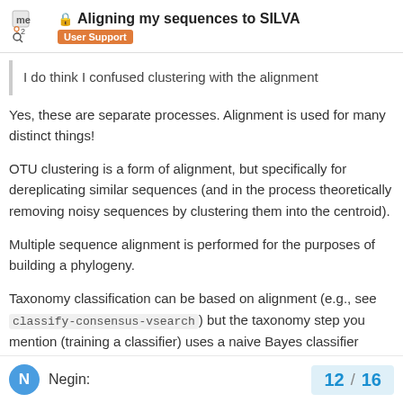Aligning my sequences to SILVA — User Support
I do think I confused clustering with the alignment
Yes, these are separate processes. Alignment is used for many distinct things!
OTU clustering is a form of alignment, but specifically for dereplicating similar sequences (and in the process theoretically removing noisy sequences by clustering them into the centroid).
Multiple sequence alignment is performed for the purposes of building a phylogeny.
Taxonomy classification can be based on alignment (e.g., see classify-consensus-vsearch) but the taxonomy step you mention (training a classifier) uses a naive Bayes classifier trained on kmer frequency information, not a full sequence alignment.
Negin:
12 / 16